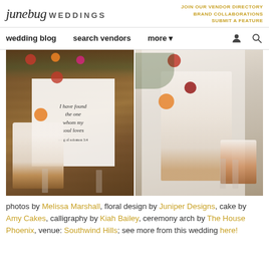junebug WEDDINGS | JOIN OUR VENDOR DIRECTORY | BRAND COLLABORATIONS | SUBMIT A FEATURE
wedding blog  search vendors  more
[Figure (photo): Two side-by-side wedding photos showing a styled cake table with white multi-tiered cakes decorated with colorful floral arrangements (red, orange, pink roses), set against a wooden backdrop with a calligraphy banner reading 'I have found the one whom my soul loves', and a right photo showing a close-up of the cakes on gold and white pedestals.]
photos by Melissa Marshall, floral design by Juniper Designs, cake by Amy Cakes, calligraphy by Kiah Bailey, ceremony arch by The House Phoenix, venue: Southwind Hills; see more from this wedding here!